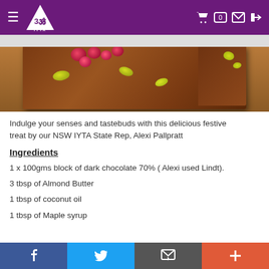IYTA navigation bar with logo, cart (0), mail, and login icons
[Figure (photo): Close-up photo of dark chocolate bark topped with red berries and yellow-green pistachio pieces]
Indulge your senses and tastebuds with this delicious festive treat by our NSW IYTA State Rep, Alexi Pallpratt
Ingredients
1 x 100gms block of dark chocolate 70% ( Alexi used Lindt).
3 tbsp of Almond Butter
1 tbsp of coconut oil
1 tbsp of Maple syrup
Social share bar: Facebook, Twitter, Email, Plus